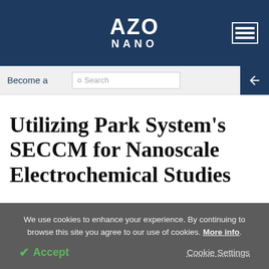AZO NANO
Become a
Utilizing Park System's SECCM for Nanoscale Electrochemical Studies
We use cookies to enhance your experience. By continuing to browse this site you agree to our use of cookies. More info.
✓ Accept   Cookie Settings